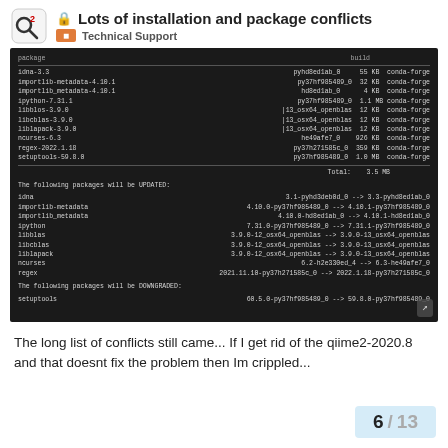Lots of installation and package conflicts — Technical Support
[Figure (screenshot): Terminal/console screenshot showing conda package installation list with packages being updated and downgraded: idna, importlib-metadata, importlib_metadata, ipython, libblas, libcblas, liblapack, ncurses, regex being updated; setuptools being downgraded.]
The long list of conflicts still came... If I get rid of the qiime2-2020.8 and that doesnt fix the problem then Im crippled...
6 / 13